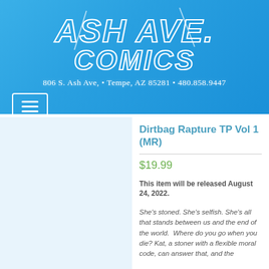[Figure (logo): Ash Ave Comics logo in white outline lettering on blue gradient background]
806 S. Ash Ave, • Tempe, AZ 85281 • 480.858.9447
Dirtbag Rapture TP Vol 1 (MR)
$19.99
This item will be released August 24, 2022.
She's stoned. She's selfish. She's all that stands between us and the end of the world.  Where do you go when you die? Kat, a stoner with a flexible moral code, can answer that, and the